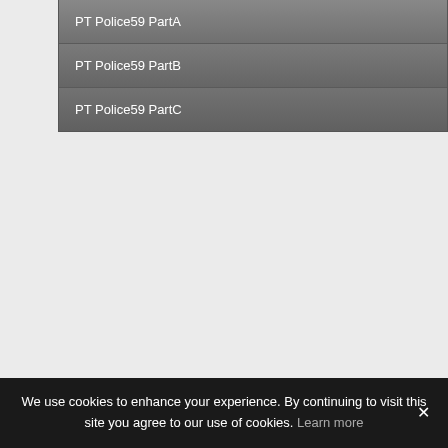PT Police59 PartA
PT Police59 PartB
PT Police59 PartC
We use cookies to enhance your experience. By continuing to visit this site you agree to our use of cookies. Learn more